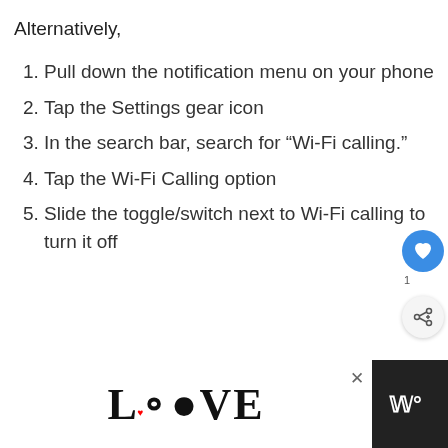Alternatively,
Pull down the notification menu on your phone
Tap the Settings gear icon
In the search bar, search for “Wi-Fi calling.”
Tap the Wi-Fi Calling option
Slide the toggle/switch next to Wi-Fi calling to turn it off
[Figure (screenshot): UI floating buttons: blue heart/like button and white share button with count '1']
[Figure (screenshot): Advertisement banner at the bottom showing decorative LOOVE text logo with a red heart and a dark right panel with 'W' logo]